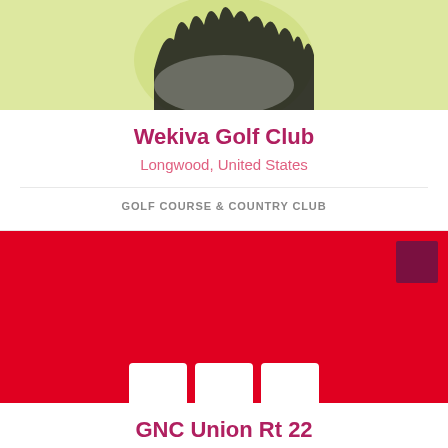[Figure (photo): Top portion of a golf club logo on a light yellow-green background, partially cropped]
Wekiva Golf Club
Longwood, United States
GOLF COURSE & COUNTRY CLUB
[Figure (photo): Red background image with a dark maroon square in the upper right and partial white GNC letters visible at the bottom]
GNC Union Rt 22
Union, United States
HEALTH/MEDICAL/PHARMACY